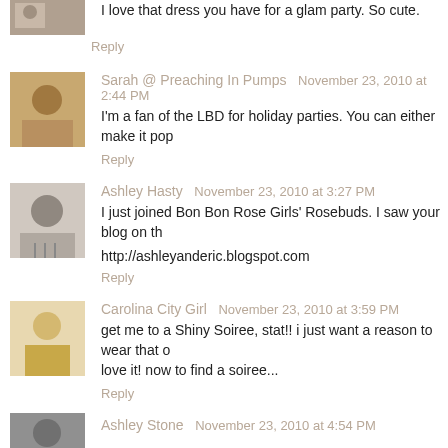I love that dress you have for a glam party. So cute.
Reply
Sarah @ Preaching In Pumps  November 23, 2010 at 2:44 PM
I'm a fan of the LBD for holiday parties. You can either make it pop
Reply
Ashley Hasty  November 23, 2010 at 3:27 PM
I just joined Bon Bon Rose Girls' Rosebuds. I saw your blog on th
http://ashleyanderic.blogspot.com
Reply
Carolina City Girl  November 23, 2010 at 3:59 PM
get me to a Shiny Soiree, stat!! i just want a reason to wear that o love it! now to find a soiree...
Reply
Ashley Stone  November 23, 2010 at 4:54 PM